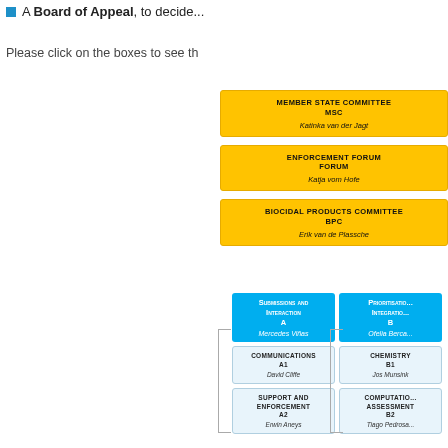A Board of Appeal, to decide...
Please click on the boxes to see th...
[Figure (organizational-chart): Upper organizational chart showing yellow boxes: Member State Committee MSC (Katinka van der Jagt), Enforcement Forum Forum (Katja vom Hofe), Biocidal Products Committee BPC (Erik van de Plassche), with partial yellow box on right edge]
[Figure (organizational-chart): Lower organizational chart with blue header boxes: Submissions and Interaction A (Mercedes Viñas), Prioritisation Integration B (Ofelia Berca...). Gray sub-boxes: Communications A1 (David Cliffe), Chemistry B1 (Jos Munsink), Support and Enforcement A2 (Erwin Aneys), Computational Assessment B2 (Tiago Pedrosa...)]